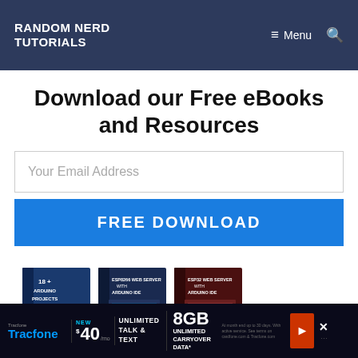RANDOM NERD TUTORIALS
Download our Free eBooks and Resources
Your Email Address
FREE DOWNLOAD
[Figure (illustration): Three eBook covers: '18+ Arduino Projects', 'ESP8266 Web Server with Arduino IDE', 'ESP32 Web Server with Arduino IDE', and partial view of 'Ultimate Guide for Arduino Sensor Modules' and 'Arduino Mini Course']
Tracfone NEW $40/mo UNLIMITED TALK & TEXT | 8GB UNLIMITED CARRYOVER DATA